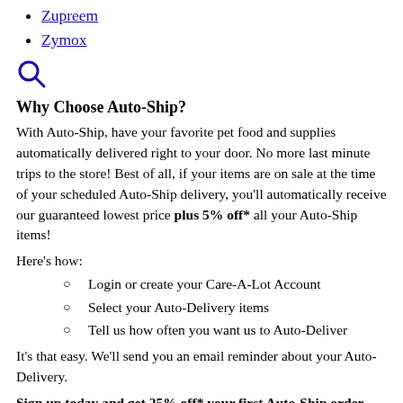Zupreem
Zymox
[Figure (other): Search icon (magnifying glass) in blue]
Why Choose Auto-Ship?
With Auto-Ship, have your favorite pet food and supplies automatically delivered right to your door. No more last minute trips to the store! Best of all, if your items are on sale at the time of your scheduled Auto-Ship delivery, you'll automatically receive our guaranteed lowest price plus 5% off* all your Auto-Ship items!
Here's how:
Login or create your Care-A-Lot Account
Select your Auto-Delivery items
Tell us how often you want us to Auto-Deliver
It's that easy. We'll send you an email reminder about your Auto-Delivery.
Sign up today and get 25% off* your first Auto-Ship order with Promo Code: AUTOSHIP25